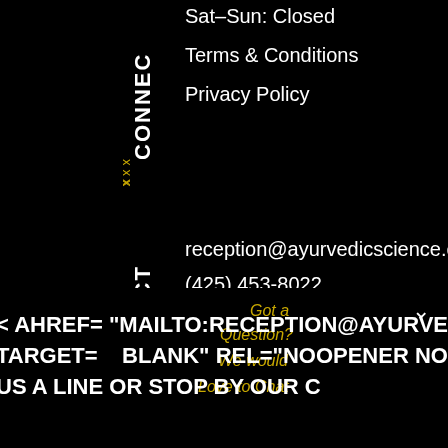CONNEC
Sat-Sun: Closed
Terms & Conditions
Privacy Policy
xxx
CONTACT
reception@ayurvedicscience.com
(425) 453-8022
2115 112th Avenue NE # 4
Bellevue, WA 98004
xxx
Got a
Question?
We would
Love to Chat
< AHREF= "MAILTO:RECEPTION@AYURVED
TARGET=   BLANK" REL="NOOPENER NO
US A LINE OR STOP BY OUR C